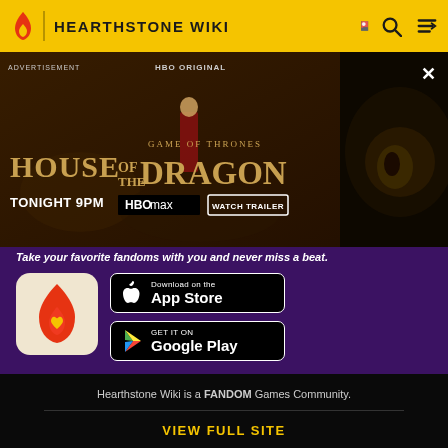HEARTHSTONE WIKI
[Figure (screenshot): HBO Original advertisement for House of the Dragon - Game of Thrones, Tonight 9PM on HBO Max. Watch Trailer button visible. Shows a woman in red dress and a dragon close-up.]
Take your favorite fandoms with you and never miss a beat.
[Figure (logo): Fandom app logo - red flame with yellow heart on cream background]
[Figure (screenshot): Download on the App Store button]
[Figure (screenshot): GET IT ON Google Play button]
Hearthstone Wiki is a FANDOM Games Community.
VIEW FULL SITE